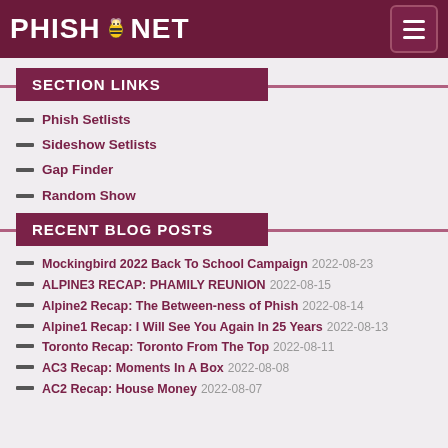PHISH.NET
SECTION LINKS
Phish Setlists
Sideshow Setlists
Gap Finder
Random Show
RECENT BLOG POSTS
Mockingbird 2022 Back To School Campaign 2022-08-23
ALPINE3 RECAP: PHAMILY REUNION 2022-08-15
Alpine2 Recap: The Between-ness of Phish 2022-08-14
Alpine1 Recap: I Will See You Again In 25 Years 2022-08-13
Toronto Recap: Toronto From The Top 2022-08-11
AC3 Recap: Moments In A Box 2022-08-08
AC2 Recap: House Money 2022-08-07